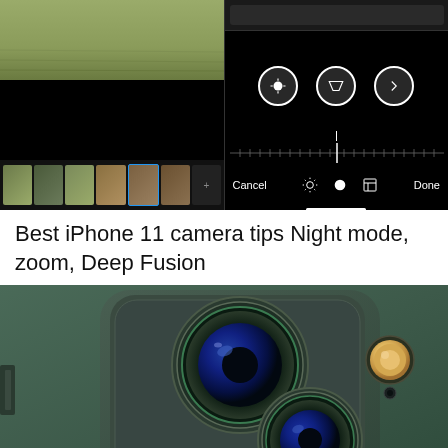[Figure (screenshot): Two iPhone screenshots side by side: left shows Photos app with photo thumbnails and editing icons; right shows photo editing interface with circular control buttons, slider, and Cancel/Done buttons]
Best iPhone 11 camera tips Night mode, zoom, Deep Fusion
[Figure (photo): Close-up photo of iPhone 11 Pro triple-lens camera system in midnight green color, showing two large camera lenses and a flash/sensor]